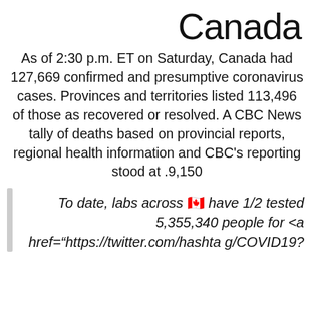Canada
As of 2:30 p.m. ET on Saturday, Canada had 127,669 confirmed and presumptive coronavirus cases. Provinces and territories listed 113,496 of those as recovered or resolved. A CBC News tally of deaths based on provincial reports, regional health information and CBC’s reporting stood at .9,150
To date, labs across 🇨🇦 have 1/2 tested 5,355,340 people for <a href="https://twitter.com/hashtag/COVID19?